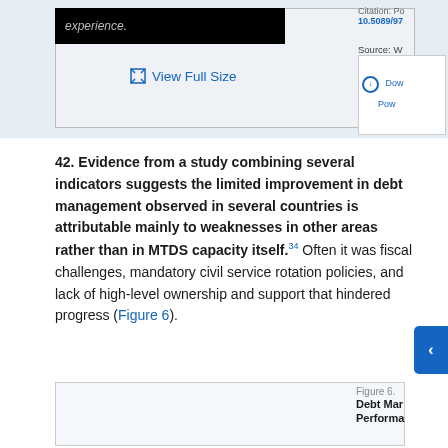[Figure (screenshot): Top portion showing a black bar with italic text 'experience.' and a figure preview area with View Full Size link and Download/PowerPoint options. Citation and Source labels visible on right side.]
42. Evidence from a study combining several indicators suggests the limited improvement in debt management observed in several countries is attributable mainly to weaknesses in other areas rather than in MTDS capacity itself.34 Often it was fiscal challenges, mandatory civil service rotation policies, and lack of high-level ownership and support that hindered progress (Figure 6).
[Figure (screenshot): Bottom preview of Figure 6. Debt Management Performance figure (partially visible).]
Figure 6. Debt Management Performance